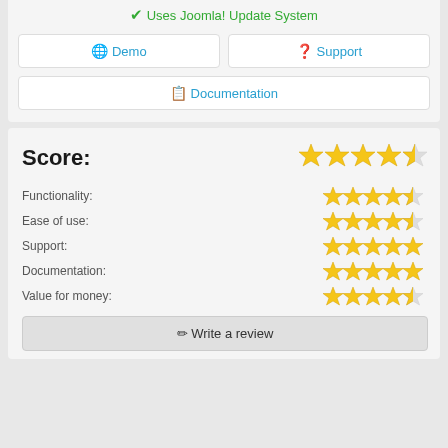✔ Uses Joomla! Update System
🌐 Demo
❓ Support
📋 Documentation
Score: ★★★★½
Functionality: ★★★★½
Ease of use: ★★★★½
Support: ★★★★★
Documentation: ★★★★★
Value for money: ★★★★½
✏ Write a review